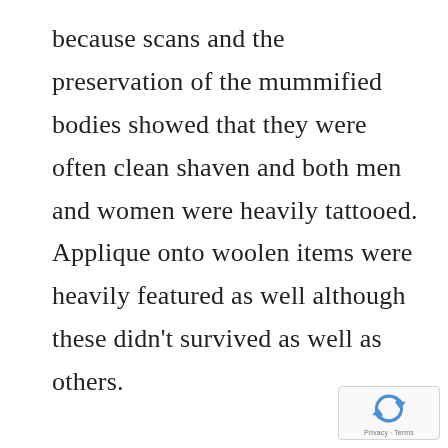because scans and the preservation of the mummified bodies showed that they were often clean shaven and both men and women were heavily tattooed. Applique onto woolen items were heavily featured as well although these didn't survived as well as others.

What tribes they couldn't make and produce themselves they traded and stole from other tribes. The most highly prized item was Chinese patterned silk, some of these fragments have survived. The exhibition also